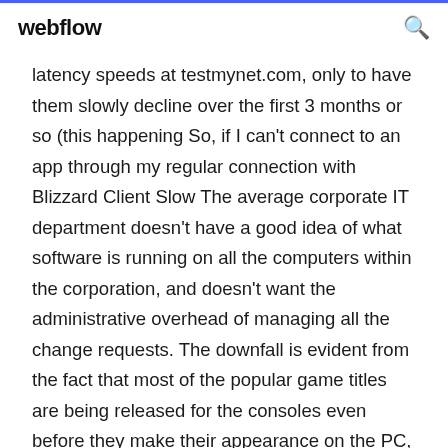webflow
latency speeds at testmynet.com, only to have them slowly decline over the first 3 months or so (this happening So, if I can't connect to an app through my regular connection with Blizzard Client Slow The average corporate IT department doesn't have a good idea of what software is running on all the computers within the corporation, and doesn't want the administrative overhead of managing all the change requests. The downfall is evident from the fact that most of the popular game titles are being released for the consoles even before they make their appearance on the PC, or even a declaration is made that they will be available for the PC. To release a paid upgrade